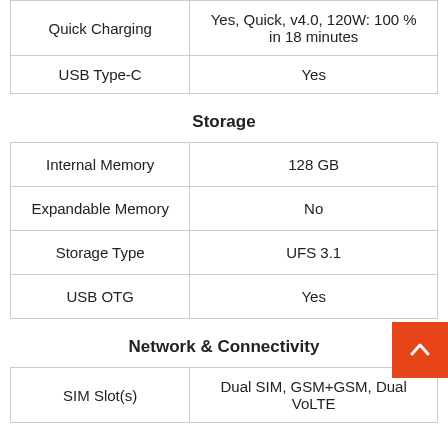|  |  |
| --- | --- |
| Quick Charging | Yes, Quick, v4.0, 120W: 100 % in 18 minutes |
| USB Type-C | Yes |
Storage
|  |  |
| --- | --- |
| Internal Memory | 128 GB |
| Expandable Memory | No |
| Storage Type | UFS 3.1 |
| USB OTG | Yes |
Network & Connectivity
|  |  |
| --- | --- |
| SIM Slot(s) | Dual SIM, GSM+GSM, Dual VoLTE |